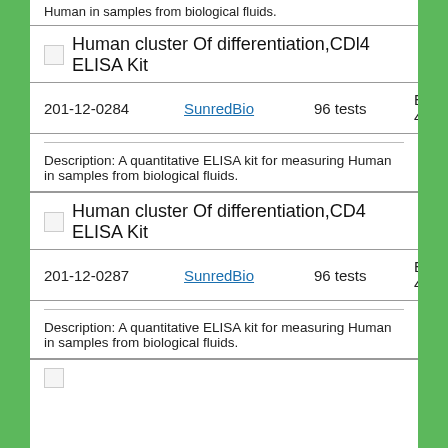Human in samples from biological fluids.
Human cluster Of differentiation,CDl4 ELISA Kit
| ID | Vendor | Quantity | Price |
| --- | --- | --- | --- |
| 201-12-0284 | SunredBio | 96 tests | EUR 440 |
Description: A quantitative ELISA kit for measuring Human in samples from biological fluids.
Human cluster Of differentiation,CD4 ELISA Kit
| ID | Vendor | Quantity | Price |
| --- | --- | --- | --- |
| 201-12-0287 | SunredBio | 96 tests | EUR 440 |
Description: A quantitative ELISA kit for measuring Human in samples from biological fluids.